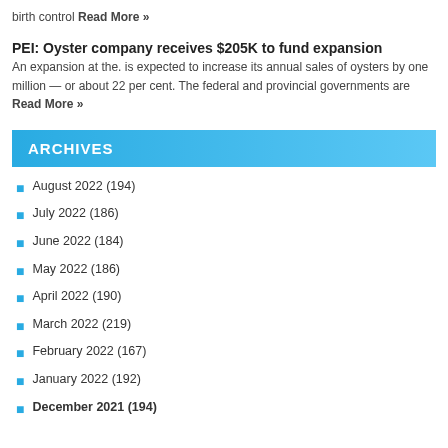birth control Read More »
PEI: Oyster company receives $205K to fund expansion
An expansion at the. is expected to increase its annual sales of oysters by one million — or about 22 per cent. The federal and provincial governments are Read More »
ARCHIVES
August 2022 (194)
July 2022 (186)
June 2022 (184)
May 2022 (186)
April 2022 (190)
March 2022 (219)
February 2022 (167)
January 2022 (192)
December 2021 (194)